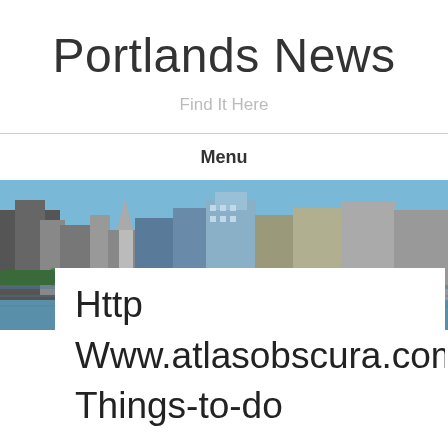Portlands News
Find It Here
Menu
[Figure (photo): Aerial/waterfront cityscape photo of Portland, showing downtown skyline with buildings, blue sky, and river in front.]
Http
Www.atlasobscura.com
Things-to-do